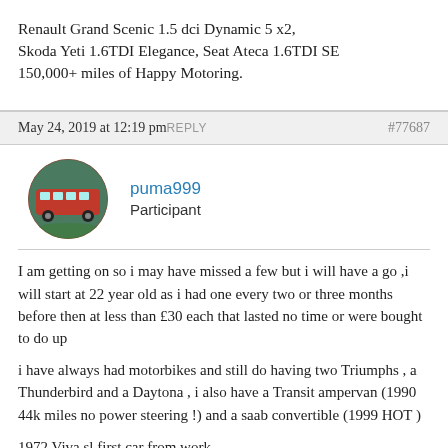Renault Grand Scenic 1.5 dci Dynamic 5 x2, Skoda Yeti 1.6TDI Elegance, Seat Ateca 1.6TDI SE 150,000+ miles of Happy Motoring.
May 24, 2019 at 12:19 pm REPLY #77687
[Figure (photo): Circular avatar image of a red fire truck/bus vehicle]
puma999
Participant
I am getting on so i may have missed a few but i will have a go ,i will start at 22 year old as i had one every two or three months before then at less than £30 each that lasted no time or were bought to do up
i have always had motorbikes and still do having two Triumphs , a Thunderbird and a Daytona , i also have a Transit ampervan (1990 44k miles no power steering !) and a saab convertible (1999 HOT )
1972 Viva sl first car from work
1974 Victor FD 1800 sl not the best but it had a great interior (worked at a vauxhall garage)